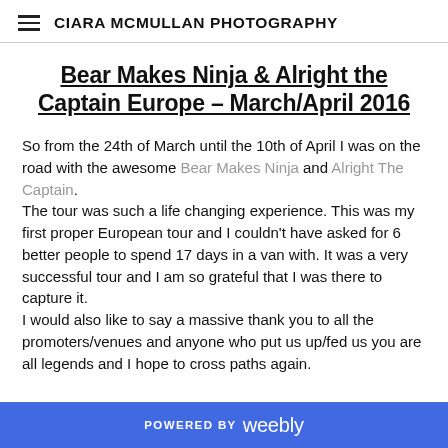CIARA MCMULLAN PHOTOGRAPHY
Bear Makes Ninja & Alright the Captain Europe – March/April 2016
So from the 24th of March until the 10th of April I was on the road with the awesome Bear Makes Ninja and Alright The Captain. The tour was such a life changing experience. This was my first proper European tour and I couldn't have asked for 6 better people to spend 17 days in a van with. It was a very successful tour and I am so grateful that I was there to capture it. I would also like to say a massive thank you to all the promoters/venues and anyone who put us up/fed us you are all legends and I hope to cross paths again.
POWERED BY weebly